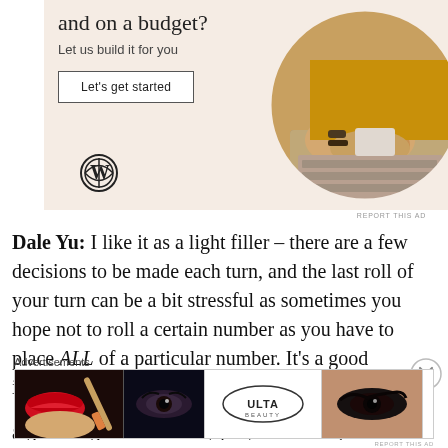[Figure (screenshot): WordPress.com advertisement banner with beige background. Shows headline text 'and on a budget?', subtext 'Let us build it for you', a 'Let's get started' button, WordPress logo at bottom left, and a circular photo of hands typing on a laptop keyboard.]
REPORT THIS AD
Dale Yu: I like it as a light filler – there are a few decisions to be made each turn, and the last roll of your turn can be a bit stressful as sometimes you hope not to roll a certain number as you have to place ALL of a particular number. It's a good introductory game for non-gamers or a filler at a game night. I have only played it twice, once with 4…
[Figure (advertisement): Ulta Beauty advertisement banner showing close-up photos of makeup looks: red lips, makeup brush, eye with eyeshadow, Ulta Beauty logo in center, dramatic eye makeup, and 'SHOP NOW' text on right.]
Advertisements
REPORT THIS AD